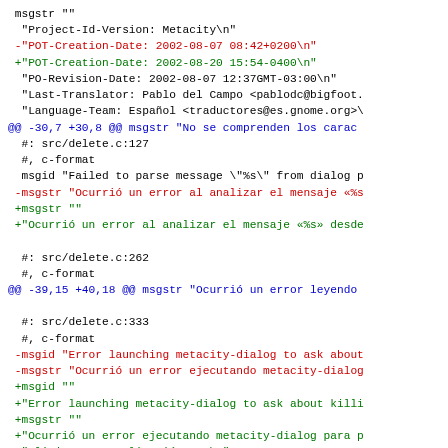Code diff showing changes to a .po translation file for Metacity, including POT-Creation-Date change, msgstr updates for error messages in Spanish, and msgid changes for metacity-dialog error messages.